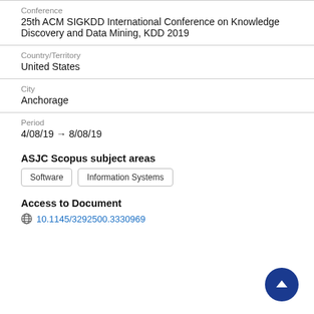Conference
25th ACM SIGKDD International Conference on Knowledge Discovery and Data Mining, KDD 2019
Country/Territory
United States
City
Anchorage
Period
4/08/19 → 8/08/19
ASJC Scopus subject areas
Software
Information Systems
Access to Document
10.1145/3292500.3330969